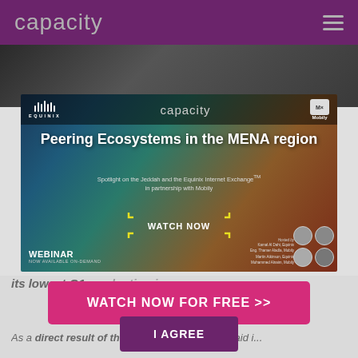capacity
[Figure (screenshot): Dark image strip showing background photo content above the ad banner]
[Figure (screenshot): Webinar advertisement banner for 'Peering Ecosystems in the MENA region' featuring Equinix, Capacity, and Mobily logos, with hosts listed and a WATCH NOW button. Subtitle: Spotlight on the Jeddah and the Equinix Internet Exchange™ in partnership with Mobily. WEBINAR NOW AVAILABLE ON-DEMAND.]
WATCH NOW FOR FREE >>
its lowest Q1 pro... years.
I AGREE
As a direct result of the pandemic, Samsung said i...